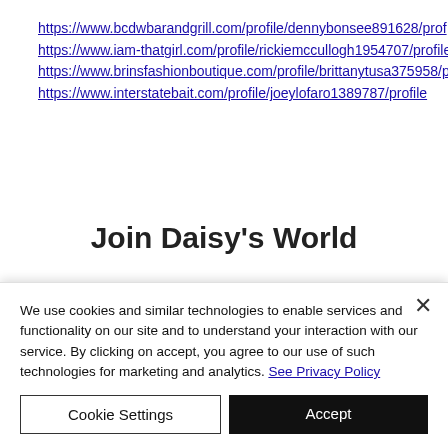https://www.bcdwbarandgrill.com/profile/dennybonsee891628/prof...
https://www.iam-thatgirl.com/profile/rickiemccullogh1954707/profile
https://www.brinsfashionboutique.com/profile/brittanytusa375958/p...
https://www.interstatebait.com/profile/joeylofaro1389787/profile
Join Daisy's World
We use cookies and similar technologies to enable services and functionality on our site and to understand your interaction with our service. By clicking on accept, you agree to our use of such technologies for marketing and analytics. See Privacy Policy